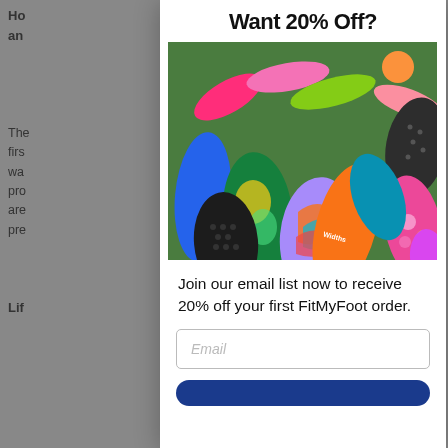Ho... e and...
The... e at first... of way... pro... re are... pre...
Life...
Want 20% Off?
[Figure (photo): Colorful shoe insoles spread out on green grass, various colors and patterns including pink, blue, green, orange, floral, and swirl designs.]
Join our email list now to receive 20% off your first FitMyFoot order.
Email
bullet point